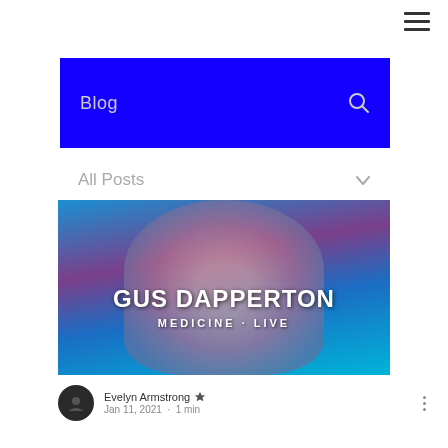≡ (navigation menu)
Blog
All Posts
[Figure (photo): Promotional image for Gus Dapperton Medicine - Live. Shows a person wearing oversized dark sunglasses under blue and purple lighting with bold white text reading GUS DAPPERTON and MEDICINE - LIVE.]
Evelyn Armstrong  Admin
Jan 11, 2021 · 1 min